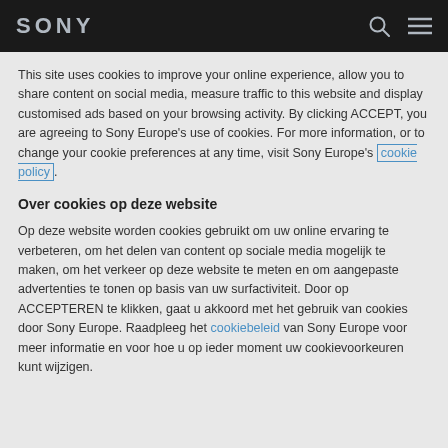SONY
This site uses cookies to improve your online experience, allow you to share content on social media, measure traffic to this website and display customised ads based on your browsing activity. By clicking ACCEPT, you are agreeing to Sony Europe's use of cookies. For more information, or to change your cookie preferences at any time, visit Sony Europe's cookie policy.
Over cookies op deze website
Op deze website worden cookies gebruikt om uw online ervaring te verbeteren, om het delen van content op sociale media mogelijk te maken, om het verkeer op deze website te meten en om aangepaste advertenties te tonen op basis van uw surfactiviteit. Door op ACCEPTEREN te klikken, gaat u akkoord met het gebruik van cookies door Sony Europe. Raadpleeg het cookiebeleid van Sony Europe voor meer informatie en voor hoe u op ieder moment uw cookievoorkeuren kunt wijzigen.